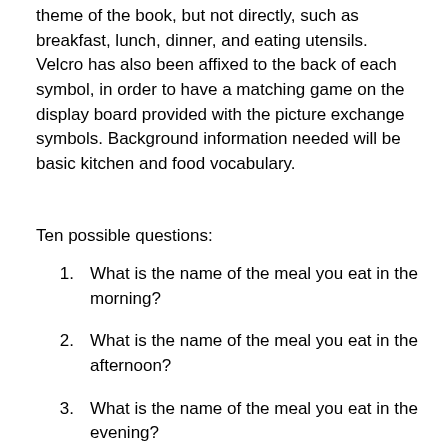theme of the book, but not directly, such as breakfast, lunch, dinner, and eating utensils. Velcro has also been affixed to the back of each symbol, in order to have a matching game on the display board provided with the picture exchange symbols. Background information needed will be basic kitchen and food vocabulary.
Ten possible questions:
1. What is the name of the meal you eat in the morning?
2. What is the name of the meal you eat in the afternoon?
3. What is the name of the meal you eat in the evening?